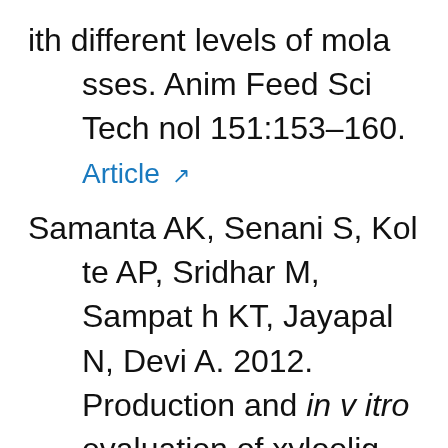ith different levels of molasses. Anim Feed Sci Technol 151:153–160.
Article [external link icon]
Samanta AK, Senani S, Kolte AP, Sridhar M, Sampath KT, Jayapal N, Devi A. 2012. Production and in vitro evaluation of xylooligosaccharides generated from corn cobs. Food Bio